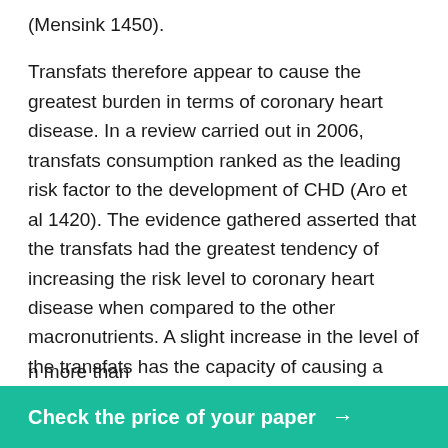(Mensink 1450).
Transfats therefore appear to cause the greatest burden in terms of coronary heart disease. In a review carried out in 2006, transfats consumption ranked as the leading risk factor to the development of CHD (Aro et al 1420). The evidence gathered asserted that the transfats had the greatest tendency of increasing the risk level to coronary heart disease when compared to the other macronutrients. A slight increase in the level of the transfats has the capacity of causing a substantial rise in CHD cases. Increasing the intake of calories of transfats origin by a margin of 2 % may result in the doubling of the risk (Mensink 1447). This was comparable to the effect caused by 15 % increase in calories of saturated fat origin. CHD n more than
Check the price of your paper →